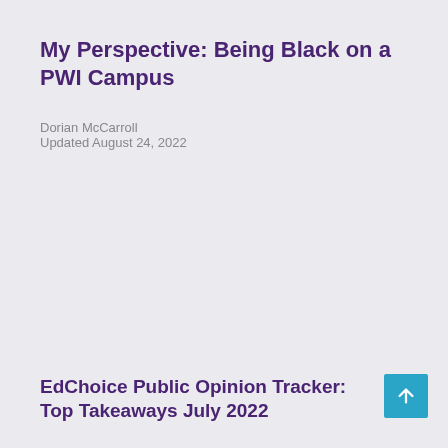My Perspective: Being Black on a PWI Campus
Dorian McCarroll
Updated August 24, 2022
EdChoice Public Opinion Tracker: Top Takeaways July 2022